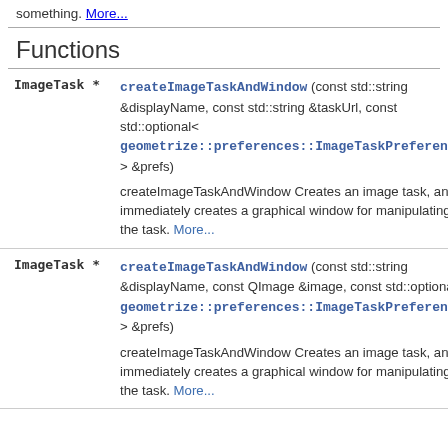something. More...
Functions
| Type | Function |
| --- | --- |
| ImageTask * | createImageTaskAndWindow (const std::string &displayName, const std::string &taskUrl, const std::optional< geometrize::preferences::ImageTaskPreferences > &prefs)
createImageTaskAndWindow Creates an image task, and immediately creates a graphical window for manipulating the task. More... |
| ImageTask * | createImageTaskAndWindow (const std::string &displayName, const QImage &image, const std::optional< geometrize::preferences::ImageTaskPreferences > &prefs)
createImageTaskAndWindow Creates an image task, and immediately creates a graphical window for manipulating the task. More... |